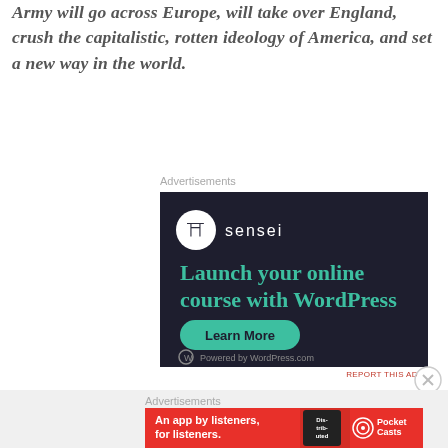Army will go across Europe, will take over England, crush the capitalistic, rotten ideology of America, and set a new way in the world.
Advertisements
[Figure (screenshot): Sensei advertisement: dark navy background with Sensei logo (white circle with tree/person icon), teal text reading 'Launch your online course with WordPress', a teal pill-shaped 'Learn More' button, and 'Powered by WordPress.com' at bottom with WordPress logo.]
REPORT THIS AD
Advertisements
[Figure (screenshot): Pocket Casts advertisement: red background with white text 'An app by listeners, for listeners.' alongside an image of a phone showing 'Distributed' text and the Pocket Casts logo on the right.]